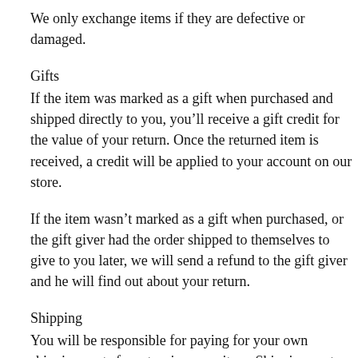We only exchange items if they are defective or damaged.
Gifts
If the item was marked as a gift when purchased and shipped directly to you, you’ll receive a gift credit for the value of your return. Once the returned item is received, a credit will be applied to your account on our store.
If the item wasn’t marked as a gift when purchased, or the gift giver had the order shipped to themselves to give to you later, we will send a refund to the gift giver and he will find out about your return.
Shipping
You will be responsible for paying for your own shipping costs for returning your item. Shipping costs are non-refundable. If you receive a refund, the cost of return shipping will be deducted from your refund.
Depending on where you live, the time it may take for your